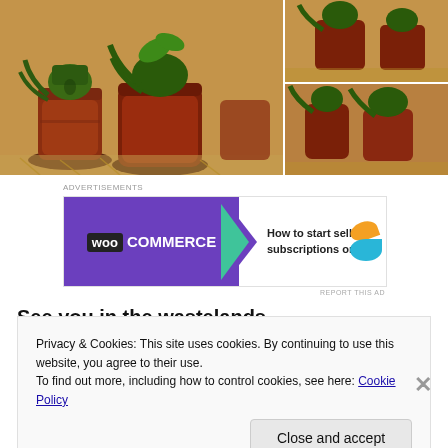[Figure (photo): Painted miniature figures of zombie-like creatures in red/terracotta pots with green monster faces and claws, shown in a 3-photo grid layout (one large left, two stacked right). Tabletop gaming miniatures.]
Advertisements
[Figure (other): WooCommerce advertisement banner: purple left side with WooCommerce logo and green arrow, right side reads 'How to start selling subscriptions online' with orange and blue decorative shapes.]
REPORT THIS AD
See you in the wastelands.
Privacy & Cookies: This site uses cookies. By continuing to use this website, you agree to their use.
To find out more, including how to control cookies, see here: Cookie Policy
Close and accept